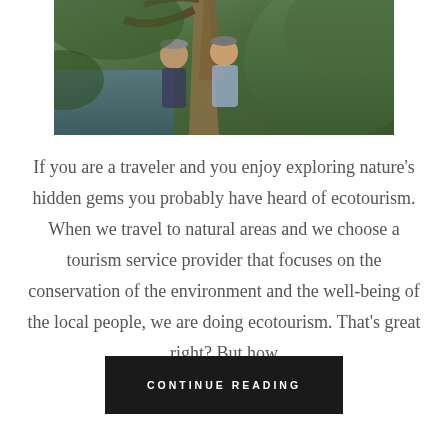[Figure (photo): Two people posing in front of a large tree trunk in a natural outdoor setting with a lake or river and green hills in the background]
If you are a traveler and you enjoy exploring nature's hidden gems you probably have heard of ecotourism. When we travel to natural areas and we choose a tourism service provider that focuses on the conservation of the environment and the well-being of the local people, we are doing ecotourism. That's great right? But how
CONTINUE READING